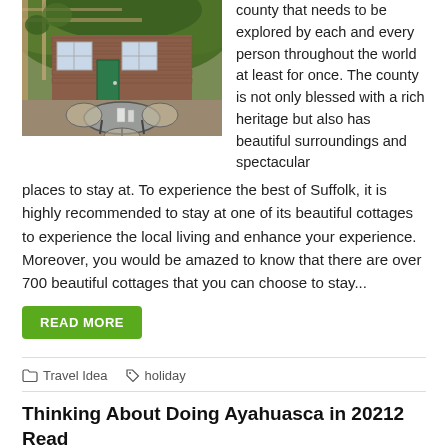[Figure (photo): A garden patio with glass table and wicker chairs in front of an ivy-covered brick cottage with green door and white window frames]
county that needs to be explored by each and every person throughout the world at least for once. The county is not only blessed with a rich heritage but also has beautiful surroundings and spectacular places to stay at. To experience the best of Suffolk, it is highly recommended to stay at one of its beautiful cottages to experience the local living and enhance your experience. Moreover, you would be amazed to know that there are over 700 beautiful cottages that you can choose to stay...
READ MORE
Travel Idea	holiday
Thinking About Doing Ayahuasca in 20212 Read